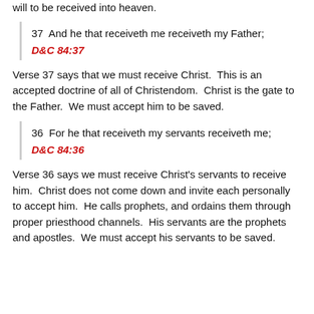will to be received into heaven.
37  And he that receiveth me receiveth my Father;
D&C 84:37
Verse 37 says that we must receive Christ.  This is an accepted doctrine of all of Christendom.  Christ is the gate to the Father.  We must accept him to be saved.
36  For he that receiveth my servants receiveth me;
D&C 84:36
Verse 36 says we must receive Christ's servants to receive him.  Christ does not come down and invite each personally to accept him.  He calls prophets, and ordains them through proper priesthood channels.  His servants are the prophets and apostles.  We must accept his servants to be saved.